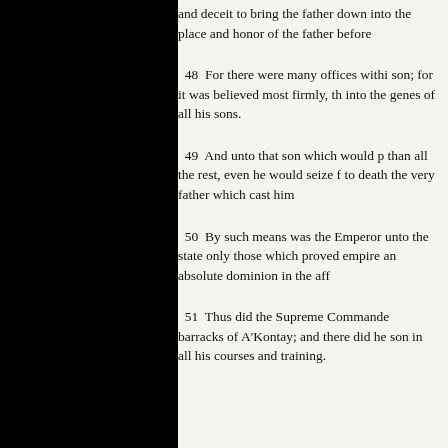and deceit to bring the father down into the place and honor of the father before
48  For there were many offices within son; for it was believed most firmly, that into the genes of all his sons.
49  And unto that son which would pr than all the rest, even he would seize fo to death the very father which cast him
50  By such means was the Emperor a unto the state only those which proved empire an absolute dominion in the affa
51  Thus did the Supreme Commande barracks of A'Kontay; and there did he son in all his courses and training.